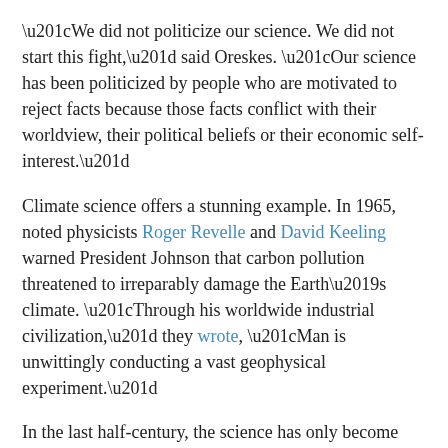“We did not politicize our science. We did not start this fight,” said Oreskes. “Our science has been politicized by people who are motivated to reject facts because those facts conflict with their worldview, their political beliefs or their economic self-interest.”
Climate science offers a stunning example. In 1965, noted physicists Roger Revelle and David Keeling warned President Johnson that carbon pollution threatened to irreparably damage the Earth’s climate. “Through his worldwide industrial civilization,” they wrote, “Man is unwittingly conducting a vast geophysical experiment.”
In the last half-century, the science has only become more compelling and the problem more urgent. Today, scientists at NASA, NOAA and other government agencies are sounding the alarm about climate change. They have faced tremendous hostility from members of Congress, who have cast doubt on